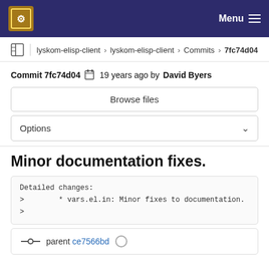Menu
lyskom-elisp-client > lyskom-elisp-client > Commits > 7fc74d04
Commit 7fc74d04  19 years ago by David Byers
Browse files
Options
Minor documentation fixes.
Detailed changes:
>        * vars.el.in: Minor fixes to documentation.
>
parent ce7566bd